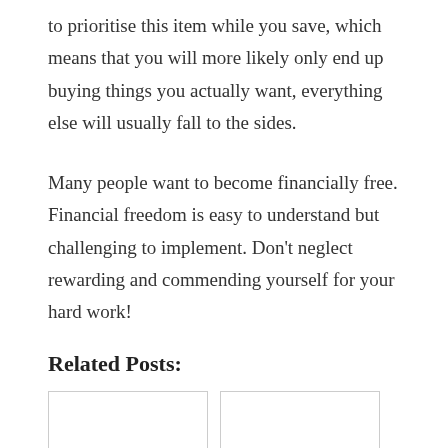to prioritise this item while you save, which means that you will more likely only end up buying things you actually want, everything else will usually fall to the sides.
Many people want to become financially free. Financial freedom is easy to understand but challenging to implement. Don't neglect rewarding and commending yourself for your hard work!
Related Posts:
[Figure (other): Two empty white rectangular image placeholders side by side under Related Posts section]